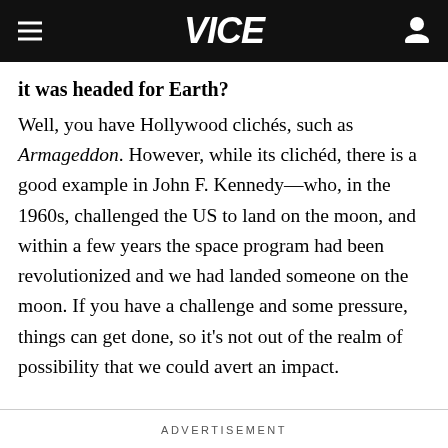VICE
it was headed for Earth?
Well, you have Hollywood clichés, such as Armageddon. However, while its clichéd, there is a good example in John F. Kennedy—who, in the 1960s, challenged the US to land on the moon, and within a few years the space program had been revolutionized and we had landed someone on the moon. If you have a challenge and some pressure, things can get done, so it's not out of the realm of possibility that we could avert an impact.
ADVERTISEMENT